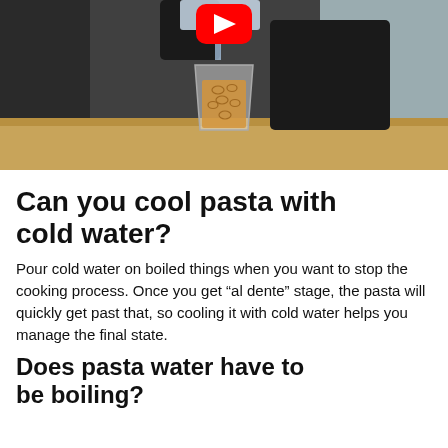[Figure (photo): A person pouring water from a container into a clear plastic cup filled with pasta (ring-shaped, like small pasta rings/anelli), placed on a wooden kitchen counter. A YouTube play button overlay is visible at the top center. The person is wearing a black top and standing behind the counter.]
Can you cool pasta with cold water?
Pour cold water on boiled things when you want to stop the cooking process. Once you get “al dente” stage, the pasta will quickly get past that, so cooling it with cold water helps you manage the final state.
Does pasta water have to be boiling?